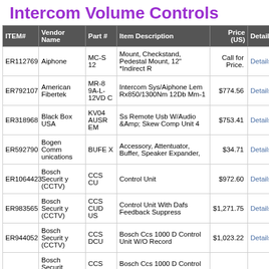Intercom Volume Controls
| ITEM# | Vendor Name | Part # | Item Description | Price (US) | Details |
| --- | --- | --- | --- | --- | --- |
| ER112769 | Aiphone | MC-S 12 | Mount, Checkstand, Pedestal Mount, 12" *Indirect R | Call for Price. | Details |
| ER792107 | American Fibertek | MR-89A-L-12VDC | Intercom Sys/Aiphone Lem Rx850/1300Nm 12Db Mm-1 | $774.56 | Details |
| ER318968 | Black Box USA | KV04AUSREM | Ss Remote Usb W/Audio &Amp; Skew Comp Unit 4 | $753.41 | Details |
| ER592790 | Bogen Communications | BUFEX | Accessory, Attentuator, Buffer, Speaker Expander, | $34.71 | Details |
| ER1064423 | Bosch Security (CCTV) | CCS CU | Control Unit | $972.60 | Details |
| ER983565 | Bosch Security (CCTV) | CCS CUDUS | Control Unit With Dafs Feedback Suppress | $1,271.75 | Details |
| ER944052 | Bosch Security (CCTV) | CCS DCU | Bosch Ccs 1000 D Control Unit W/O Record | $1,023.22 | Details |
| ER... | Bosch Securit | CCS | Bosch Ccs 1000 D Control |  |  |